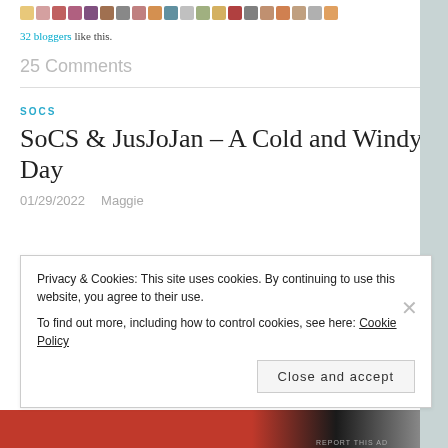32 bloggers like this.
25 Comments
SOCS
SoCS & JusJoJan – A Cold and Windy Day
01/29/2022   Maggie
Privacy & Cookies: This site uses cookies. By continuing to use this website, you agree to their use.
To find out more, including how to control cookies, see here: Cookie Policy
Close and accept